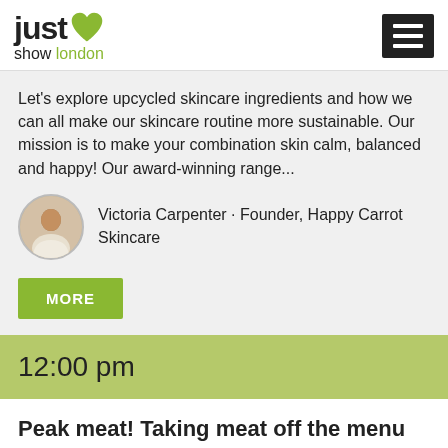just V show london
Let's explore upcycled skincare ingredients and how we can all make our skincare routine more sustainable. Our mission is to make your combination skin calm, balanced and happy! Our award-winning range...
Victoria Carpenter · Founder, Happy Carrot Skincare
MORE
12:00 pm
Peak meat! Taking meat off the menu
Just V Chat Theatre